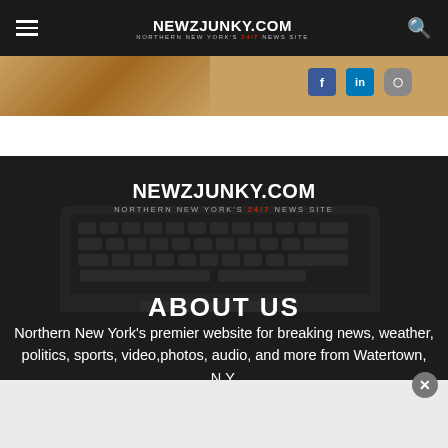NEWZJUNKY.COM — NORTHERN NEW YORK'S 24/7 NEWS SITE
[Figure (screenshot): Top photo strip with amber/golden image on the left and social media icons (Facebook, LinkedIn, Instagram) on the right]
[Figure (logo): NEWZJUNKY.COM logo — NORTHERN NEW YORK'S 24/7 NEWS SITE — white text on dark background, with laptop keyboard in background]
ABOUT US
Northern New York's premier website for breaking news, weather, politics, sports, video,photos, audio, and more from Watertown, N.Y.